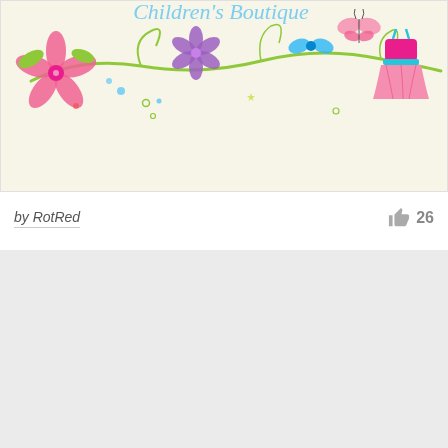[Figure (illustration): Children's boutique logo/banner with colorful floral decorations, butterflies, swirls, and a girl's tutu dress on a cream/beige background]
by RotRed
26
[Figure (illustration): Light gray placeholder or partially loaded image block]